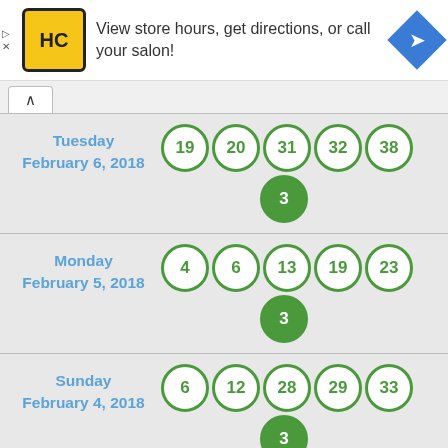[Figure (infographic): Advertisement banner: HC logo (yellow), text 'View store hours, get directions, or call your salon!', blue diamond arrow icon]
Tuesday February 6, 2018 — balls: 19, 20, 31, 32, 38, PB: 3
Monday February 5, 2018 — balls: 4, 6, 13, 19, 23, PB: 3
Sunday February 4, 2018 — balls: 6, 12, 28, 29, 33, PB: 3
Saturday February 3, 2018 — balls: 10, 12, 13, 15, 29, PB: (partial)